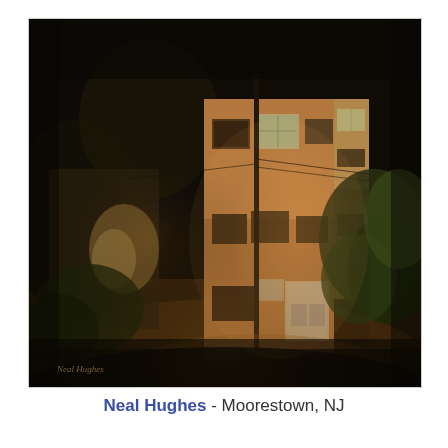[Figure (illustration): A dark, atmospheric oil painting of a two-story brick building at night illuminated by warm light. Trees and foliage surround the building. A utility pole is visible. The scene has a moody, dark background with deep browns and blacks. Artist signature visible in lower left corner.]
Neal Hughes - Moorestown, NJ